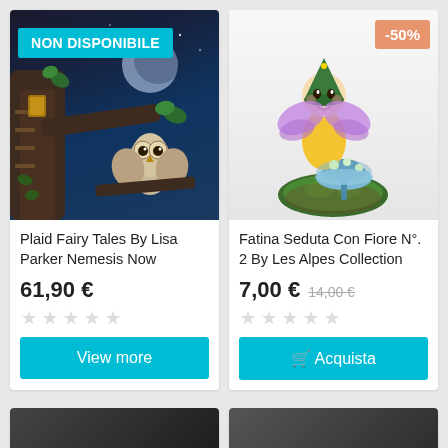[Figure (photo): Dark fantasy illustration: owl perched on branch in moonlit forest with treehouse, magical/fairy theme. Badge 'NON DISPONIBILE' (teal) overlaid top-left.]
NON DISPONIBILE
Plaid Fairy Tales By Lisa Parker Nemesis Now
61,90 €
View more
[Figure (photo): Colorful resin fairy figurine seated on a flower/bell-shaped stand, wearing green hat, yellow dress, purple wings. Badge '-50%' (salmon/orange) overlaid top-right.]
-50%
Fatina Seduta Con Fiore N°. 2 By Les Alpes Collection
7,00 €
14,00 €
🛒 Acquista
[Figure (photo): Partial product image at bottom-left, dark colored figurine or item, partially visible.]
[Figure (photo): Partial product image at bottom-right, grey/dark colored item, partially visible.]